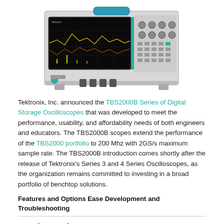[Figure (photo): Tektronix TBS2000B Series Digital Storage Oscilloscope device photo showing the instrument with a display screen showing waveforms, front panel controls, and probe connectors.]
Tektronix, Inc. announced the TBS2000B Series of Digital Storage Oscilloscopes that was developed to meet the performance, usability, and affordability needs of both engineers and educators. The TBS2000B scopes extend the performance of the TBS2000 portfolio to 200 Mhz with 2GS/s maximum sample rate. The TBS2000B introduction comes shortly after the release of Tektronix’s Series 3 and 4 Series Oscilloscopes, as the organization remains committed to investing in a broad portfolio of benchtop solutions.
Features and Options Ease Development and Troubleshooting
Related Resources